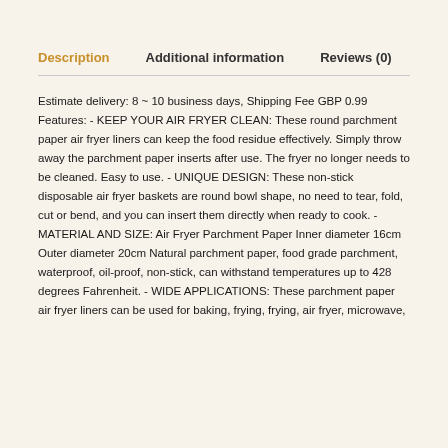Description | Additional information | Reviews (0)
Estimate delivery: 8 ~ 10 business days, Shipping Fee GBP 0.99 Features: - KEEP YOUR AIR FRYER CLEAN: These round parchment paper air fryer liners can keep the food residue effectively. Simply throw away the parchment paper inserts after use. The fryer no longer needs to be cleaned. Easy to use. - UNIQUE DESIGN: These non-stick disposable air fryer baskets are round bowl shape, no need to tear, fold, cut or bend, and you can insert them directly when ready to cook. - MATERIAL AND SIZE: Air Fryer Parchment Paper Inner diameter 16cm Outer diameter 20cm Natural parchment paper, food grade parchment, waterproof, oil-proof, non-stick, can withstand temperatures up to 428 degrees Fahrenheit. - WIDE APPLICATIONS: These parchment paper air fryer liners can be used for baking, frying, frying, air fryer, microwave,